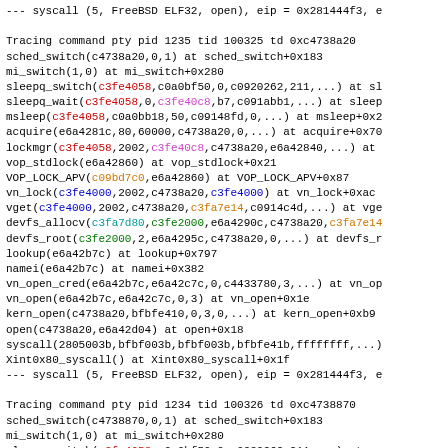--- syscall (5, FreeBSD ELF32, open), eip = 0x281444f3, e
Tracing command pty pid 1235 tid 100325 td 0xc4738a20
sched_switch(c4738a20,0,1) at sched_switch+0x183
mi_switch(1,0) at mi_switch+0x280
sleepq_switch(c3fe4058,c0a0bf50,0,c0920262,211,...) at sl
sleepq_wait(c3fe4058,0,c3fe40c8,b7,c091abb1,...) at sleep
msleep(c3fe4058,c0a0bb18,50,c09148fd,0,...) at msleep+0x2
acquire(e6a4281c,80,60000,c4738a20,0,...) at acquire+0x70
lockmgr(c3fe4058,2002,c3fe40c8,c4738a20,e6a42840,...) at
vop_stdlock(e6a42860) at vop_stdlock+0x21
VOP_LOCK_APV(c09bd7c0,e6a42860) at VOP_LOCK_APV+0x87
vn_lock(c3fe4000,2002,c4738a20,c3fe4000) at vn_lock+0xac
vget(c3fe4000,2002,c4738a20,c3fa7e14,c0914c4d,...) at vge
devfs_allocv(c3fa7d80,c3fe2000,e6a4290c,c4738a20,c3fa7e14
devfs_root(c3fe2000,2,e6a4295c,c4738a20,0,...) at devfs_r
lookup(e6a42b7c) at lookup+0x797
namei(e6a42b7c) at namei+0x382
vn_open_cred(e6a42b7c,e6a42c7c,0,c4433780,3,...) at vn_op
vn_open(e6a42b7c,e6a42c7c,0,3) at vn_open+0x1e
kern_open(c4738a20,bfbfe410,0,3,0,...) at kern_open+0xb9
open(c4738a20,e6a42d04) at open+0x18
syscall(2805003b,bfbf003b,bfbf003b,bfbfe41b,ffffffff,...)
Xint0x80_syscall() at Xint0x80_syscall+0x1f
--- syscall (5, FreeBSD ELF32, open), eip = 0x281444f3, e

Tracing command pty pid 1234 tid 100326 td 0xc4738870
sched_switch(c4738870,0,1) at sched_switch+0x183
mi_switch(1,0) at mi_switch+0x280
sleepq_switch(c3fe4058,c0a0bf50,0,c0920262,211,...) at